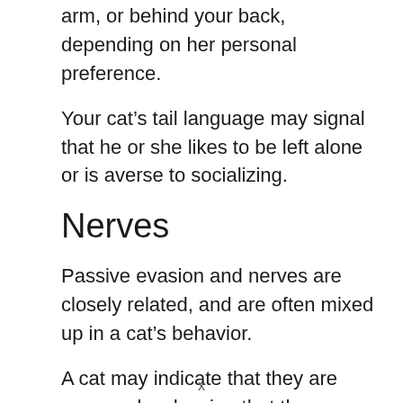arm, or behind your back, depending on her personal preference.
Your cat’s tail language may signal that he or she likes to be left alone or is averse to socializing.
Nerves
Passive evasion and nerves are closely related, and are often mixed up in a cat’s behavior.
A cat may indicate that they are nervous by showing that they are standing firm, with their tail curled around them, or by using the